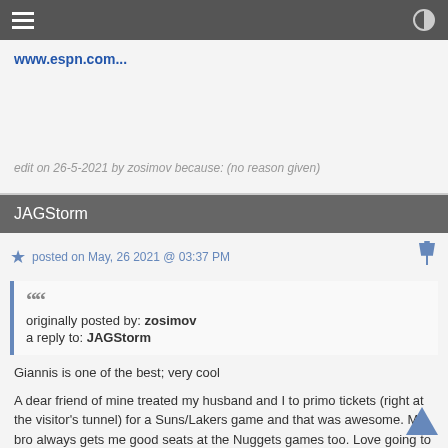Navigation bar with hamburger menu and contrast icon
www.espn.com...
edit on 26-5-2021 by zosimov because: (no reason given)
JAGStorm
posted on May, 26 2021 @ 03:37 PM
originally posted by: zosimov
a reply to: JAGStorm

Giannis is one of the best; very cool

A dear friend of mine treated my husband and I to primo tickets (right at the visitor's tunnel) for a Suns/Lakers game and that was awesome. My bro always gets me good seats at the Nuggets games too. Love going to the games.